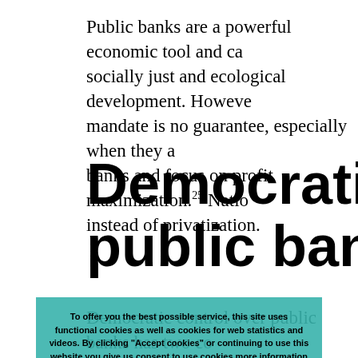Public banks are a powerful economic tool and ca socially just and ecological development. Howeve mandate is no guarantee, especially when they a banks and focus on profit maximization.25 Natio instead of privatization.
Democratizing public banks
Democratic control over public banks has two co to be in place. One is related to a broad to broad motivation on community in the governa public bank need d balances, tying eve (management, owners, supervisory committees, public mandate. The case of the Sparkassen is ag